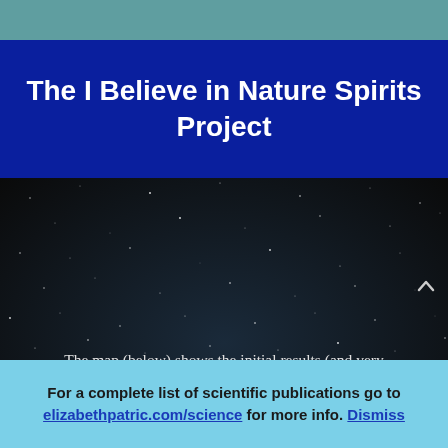The I Believe in Nature Spirits Project
The map (below) shows the initial results (and very enthusiastic response!) of our I believe in Nature Spirits Project. Every single point on this global map signifies that there is a person there that is holding sacred space for non-physical nature spirits.
For a complete list of scientific publications go to elizabethpatric.com/science for more info. Dismiss